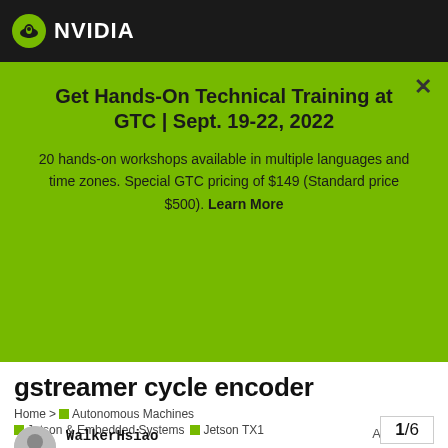NVIDIA
Get Hands-On Technical Training at GTC | Sept. 19-22, 2022
20 hands-on workshops available in multiple languages and time zones. Special GTC pricing of $149 (Standard price $500). Learn More
gstreamer cycle encoder
Home > Autonomous Machines > Jetson & Embedded Systems > Jetson TX1
WalkerHsiao  Aug 27 '18  1/6